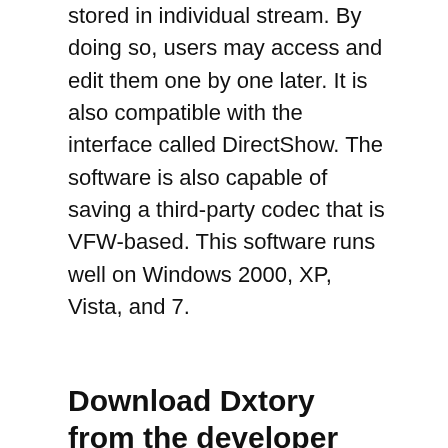stored in individual stream. By doing so, users may access and edit them one by one later. It is also compatible with the interface called DirectShow. The software is also capable of saving a third-party codec that is VFW-based. This software runs well on Windows 2000, XP, Vista, and 7.
Download Dxtory from the developer
File.org does not provide software hosting. We send you directly to the developer's site, to make sure you download the latest, original version of the program.